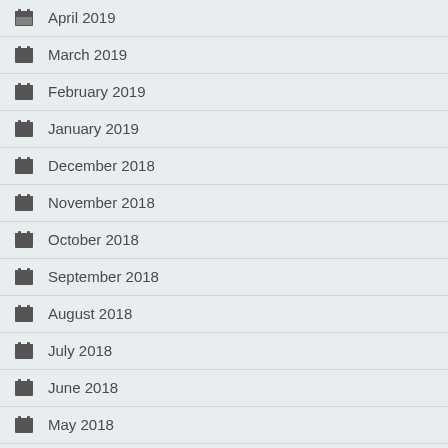April 2019
March 2019
February 2019
January 2019
December 2018
November 2018
October 2018
September 2018
August 2018
July 2018
June 2018
May 2018
April 2018
March 2018
February 2018